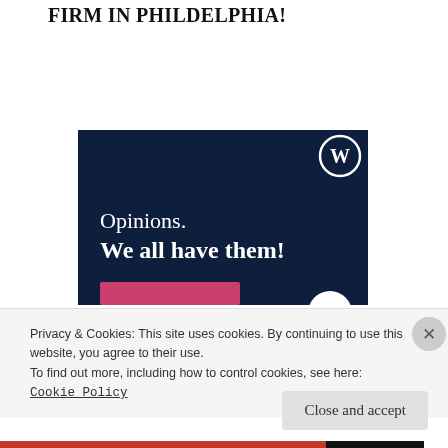FIRM IN PHILDELPHIA!
Reply
[Figure (illustration): WordPress.com promotional banner with dark navy background, WordPress logo (W in circle) top right, text 'Opinions. We all have them!' in white serif font, pink button bar at bottom left, white circular button at bottom right.]
Privacy & Cookies: This site uses cookies. By continuing to use this website, you agree to their use.
To find out more, including how to control cookies, see here:
Cookie Policy
Close and accept